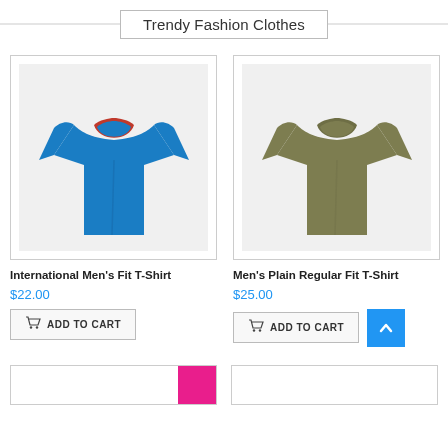Trendy Fashion Clothes
[Figure (photo): Blue International Men's Fit T-Shirt on light grey background]
International Men's Fit T-Shirt
$22.00
ADD TO CART
[Figure (photo): Olive/khaki Men's Plain Regular Fit T-Shirt on white background]
Men's Plain Regular Fit T-Shirt
$25.00
ADD TO CART